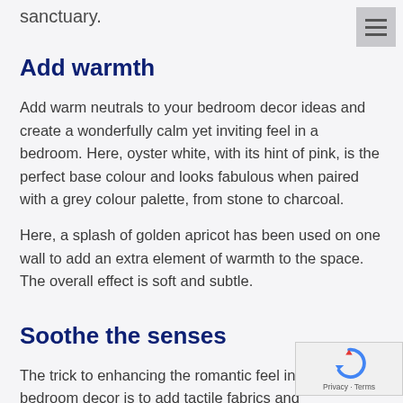sanctuary.
[Figure (other): Hamburger menu icon (three horizontal lines) on grey background, top right corner]
Add warmth
Add warm neutrals to your bedroom decor ideas and create a wonderfully calm yet inviting feel in a bedroom. Here, oyster white, with its hint of pink, is the perfect base colour and looks fabulous when paired with a grey colour palette, from stone to charcoal.
Here, a splash of golden apricot has been used on one wall to add an extra element of warmth to the space. The overall effect is soft and subtle.
Soothe the senses
The trick to enhancing the romantic feel in your bedroom decor is to add tactile fabrics and
[Figure (other): reCAPTCHA widget overlay in bottom right corner showing a recycling arrow icon and Privacy/Terms text]